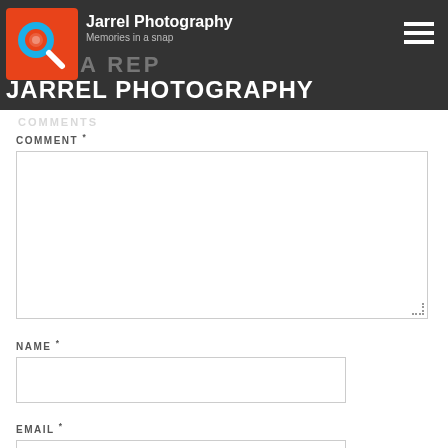[Figure (logo): Jarrel Photography logo with orange/red square background, blue circle, white camera/search icon, brand name 'Jarrel Photography' and tagline 'Memories in a snap']
JARREL PHOTOGRAPHY
COMMENT *
[Figure (screenshot): Large empty comment textarea input box]
NAME *
[Figure (screenshot): Name input text field]
EMAIL *
[Figure (screenshot): Email input text field (partially visible)]